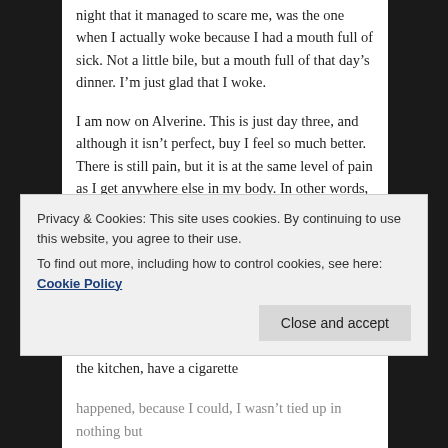night that it managed to scare me, was the one when I actually woke because I had a mouth full of sick. Not a little bile, but a mouth full of that day's dinner. I'm just glad that I woke.

I am now on Alverine. This is just day three, and although it isn't perfect, buy I feel so much better. There is still pain, but it is at the same level of pain as I get anywhere else in my body. In other words, it is at a manageable level. For the first time in about three or four months, I have just had two nights sleep without interruption. For a couple of years now, I have slept for 11 hours straight every night, then suddenly, I was awake every night in pain. I have become so used to it, that I had a set routine, I would go to the loo for a pee, head for the kitchen, have a cigarette
Privacy & Cookies: This site uses cookies. By continuing to use this website, you agree to their use.
To find out more, including how to control cookies, see here: Cookie Policy
happened, because I could, I wasn't tied up in nothing but